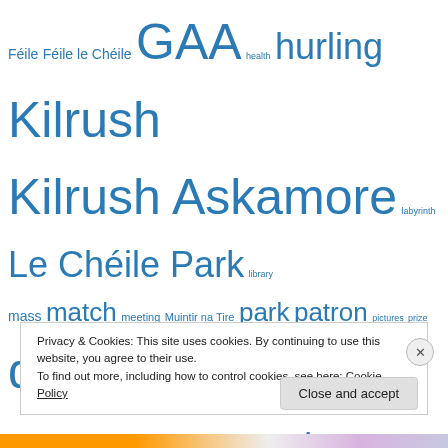[Figure (other): Tag cloud with terms in varying sizes in blue: Féile, Féile le Chéile, GAA, health, hurling, Kilrush, Kilrush Askamore, labyrinth, Le Chéile Park, library, mass, match, meeting, Muintir na Tire, park, patron, pictures, prize, quiz, results, school, set dancing, Sliabh Bhui, sport, spring clean, squash, squash league, suicide, suicide prevention, table quiz, talk, Tidy Towns, Tom Kenny, U-12, tournament, training, treasure hunt, Tuesday night talk, u-8, u-10, u-12, u-14, u-16, underage]
Privacy & Cookies: This site uses cookies. By continuing to use this website, you agree to their use.
To find out more, including how to control cookies, see here: Cookie Policy
Close and accept